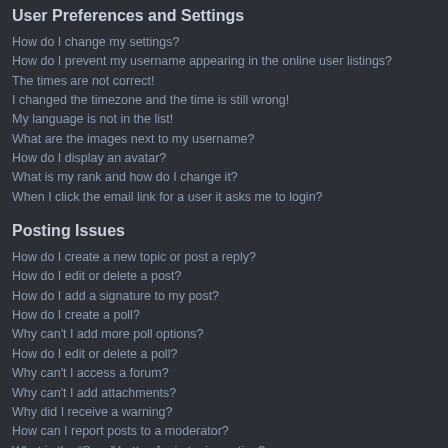User Preferences and Settings
How do I change my settings?
How do I prevent my username appearing in the online user listings?
The times are not correct!
I changed the timezone and the time is still wrong!
My language is not in the list!
What are the images next to my username?
How do I display an avatar?
What is my rank and how do I change it?
When I click the email link for a user it asks me to login?
Posting Issues
How do I create a new topic or post a reply?
How do I edit or delete a post?
How do I add a signature to my post?
How do I create a poll?
Why can't I add more poll options?
How do I edit or delete a poll?
Why can't I access a forum?
Why can't I add attachments?
Why did I receive a warning?
How can I report posts to a moderator?
What is the “Save” button for in topic posting?
Why does my post need to be approved?